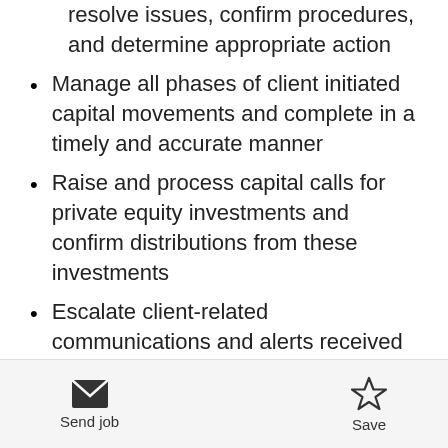resolve issues, confirm procedures, and determine appropriate action
Manage all phases of client initiated capital movements and complete in a timely and accurate manner
Raise and process capital calls for private equity investments and confirm distributions from these investments
Escalate client-related communications and alerts received in centralized queue to the client advisory team
Internal system administrator and
Send job   Save